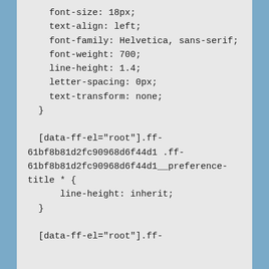font-size: 18px;
    text-align: left;
    font-family: Helvetica, sans-serif;
    font-weight: 700;
    line-height: 1.4;
    letter-spacing: 0px;
    text-transform: none;
  }

  [data-ff-el="root"].ff-61bf8b81d2fc90968d6f44d1 .ff-61bf8b81d2fc90968d6f44d1__preference-title * {
      line-height: inherit;
  }

  [data-ff-el="root"].ff-